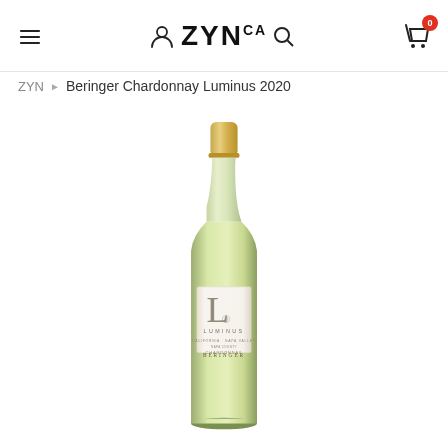ZYN.CA
ZYN › Beringer Chardonnay Luminus 2020
[Figure (photo): Wine bottle of Beringer Chardonnay Luminus 2020 - a tall bottle with a gold capsule at the top, pale golden-green glass body, and a white label featuring a large 'L' with 'LUMINUS' text and 'BERINGER' at the bottom.]